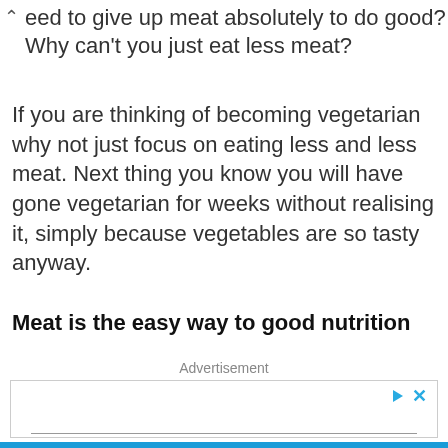eed to give up meat absolutely to do good? Why can't you just eat less meat?
If you are thinking of becoming vegetarian why not just focus on eating less and less meat. Next thing you know you will have gone vegetarian for weeks without realising it, simply because vegetables are so tasty anyway.
Meat is the easy way to good nutrition
Advertisement
[Figure (other): Advertisement box with play and close controls and a horizontal rule inside]